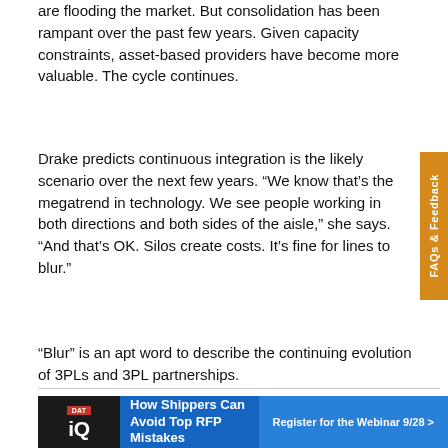are flooding the market. But consolidation has been rampant over the past few years. Given capacity constraints, asset-based providers have become more valuable. The cycle continues.
Drake predicts continuous integration is the likely scenario over the next few years. “We know that’s the megatrend in technology. We see people working in both directions and both sides of the aisle,” she says. “And that’s OK. Silos create costs. It’s fine for lines to blur.”
“Blur” is an apt word to describe the continuing evolution of 3PLs and 3PL partnerships.
TOP 3PLS PAST & PRESENT
[Figure (infographic): DAT iQ advertisement banner: 'How Shippers Can Avoid Top RFP Mistakes' with a 'Register for the Webinar 9/28 >' call to action on blue background.]